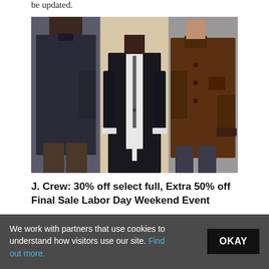be updated.
[Figure (photo): Three men modeling outerwear: left man wearing a dark navy quilted jacket, center man wearing a dark navy suit with white shirt, right man wearing a brown suede jacket with jeans.]
J. Crew: 30% off select full, Extra 50% off Final Sale Labor Day Weekend Event
Picks for both the 30% off and extra 50% off. Also, there’s a couple of oddities about this sale worth pointing out.
We work with partners that use cookies to understand how visitors use our site. Find out more.